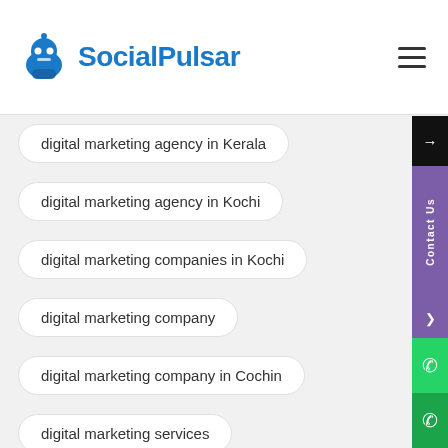SocialPulsar
digital marketing agency in Kerala
digital marketing agency in Kochi
digital marketing companies in Kochi
digital marketing company
digital marketing company in Cochin
digital marketing services
digital marketing strategy
Google adwords management services
Google analytics consultant
instagram
internet marketing